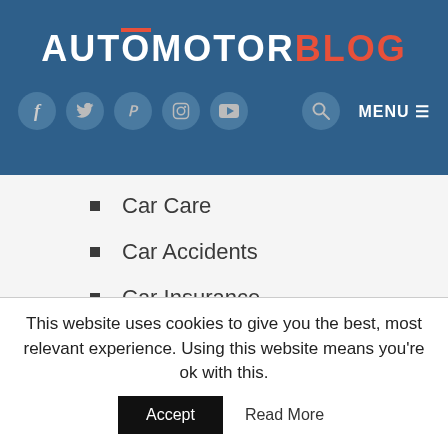[Figure (logo): AutoMotorBlog logo — white text 'AUTOMOTOR' and red text 'BLOG' on dark blue background]
[Figure (infographic): Navigation bar with social media icons (Facebook, Twitter, Pinterest, Instagram, YouTube), search icon, and MENU button on dark blue background]
Car Care
Car Accidents
Car Insurance
Electric Cars
Auto Shows
Concept Cars
This website uses cookies to give you the best, most relevant experience. Using this website means you're ok with this.
Accept   Read More